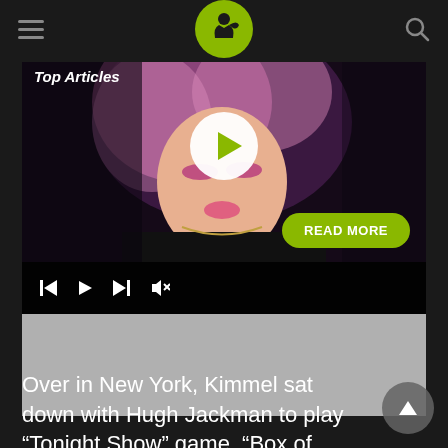Top Articles
[Figure (screenshot): Media player showing a woman with pink hair in dark clothing. Controls include skip-back, play, skip-forward, and mute icons. A circular play button overlay appears in the center. A green 'READ MORE' button appears at the bottom right of the image.]
Over in New York, Kimmel sat down with Hugh Jackman to play “Tonight Show” game, “Box of